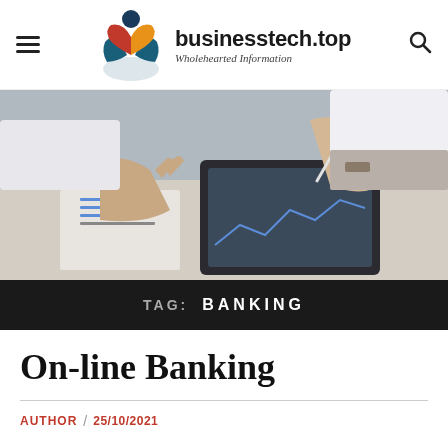businesstech.top — Wholehearted Information
[Figure (photo): Two people working at a desk with a tablet and papers, business banking context]
TAG: BANKING
On-line Banking
AUTHOR / 25/10/2021